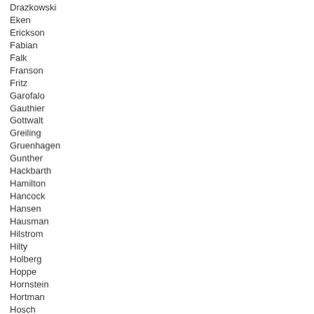Drazkowski
Eken
Erickson
Fabian
Falk
Franson
Fritz
Garofalo
Gauthier
Gottwalt
Greiling
Gruenhagen
Gunther
Hackbarth
Hamilton
Hancock
Hansen
Hausman
Hilstrom
Hilty
Holberg
Hoppe
Hornstein
Hortman
Hosch
Howes
Huntley
Johnson
Kahn
Kath
Kieffer
Kiel
Kiffmeyer
Knuth
Kriesel
Laine
Lanning
Leidiger
LeMieur